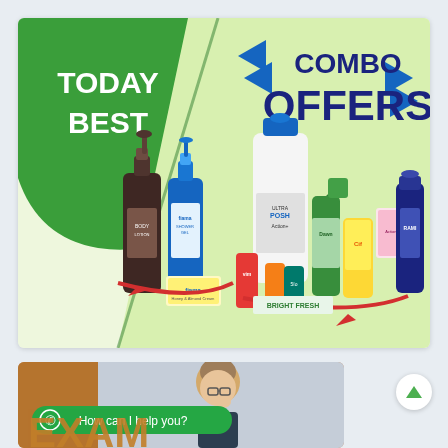[Figure (infographic): Promotional banner for 'Today Best Combo Offers' showing personal care and household cleaning products including Fiama shower gel, soap, Ultra Posh cleaner, Action+ detergent, and other cleaning products with a green diagonal design element and blue arrow decorations.]
[Figure (photo): Partial banner showing a woman with glasses and hair in a bun, with a green WhatsApp 'How can I help you?' button and partial text 'EXAM' in large brown letters on a tan/brown background.]